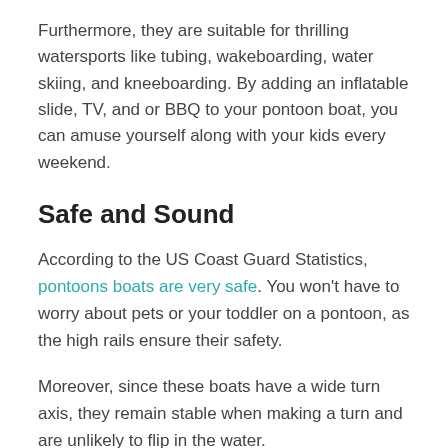Furthermore, they are suitable for thrilling watersports like tubing, wakeboarding, water skiing, and kneeboarding. By adding an inflatable slide, TV, and or BBQ to your pontoon boat, you can amuse yourself along with your kids every weekend.
Safe and Sound
According to the US Coast Guard Statistics, pontoons boats are very safe. You won't have to worry about pets or your toddler on a pontoon, as the high rails ensure their safety.
Moreover, since these boats have a wide turn axis, they remain stable when making a turn and are unlikely to flip in the water.
Cheaper